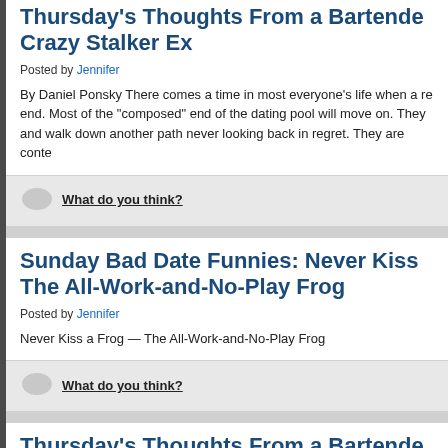Thursday's Thoughts From a Bartender: Crazy Stalker Ex
Posted by Jennifer
By Daniel Ponsky There comes a time in most everyone's life when a re end. Most of the “composed” end of the dating pool will move on. They and walk down another path never looking back in regret. They are conte
What do you think?
Sunday Bad Date Funnies: Never Kiss The All-Work-and-No-Play Frog
Posted by Jennifer
Never Kiss a Frog — The All-Work-and-No-Play Frog
What do you think?
Thursday's Thoughts From a Bartende